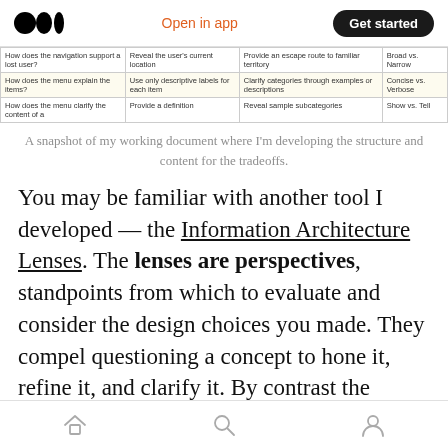Open in app | Get started
| How does the navigation support a lost user? | Reveal the user's current location | Provide an escape route to familiar territory | Broad vs. Narrow |
| How does the menu explain the items? | Use only descriptive labels for each item | Clarify categories through examples or descriptions | Concise vs. Verbose |
| How does the menu clarify the content of a | Provide a definition | Reveal sample subcategories | Show vs. Tell |
A snapshot of my working document where I'm developing the structure and content for the tradeoffs.
You may be familiar with another tool I developed — the Information Architecture Lenses. The lenses are perspectives, standpoints from which to evaluate and consider the design choices you made. They compel questioning a concept to hone it, refine it, and clarify it. By contrast the tradeoffs offer starting points, broad sweeping decisions about the direction of
Home | Search | Profile